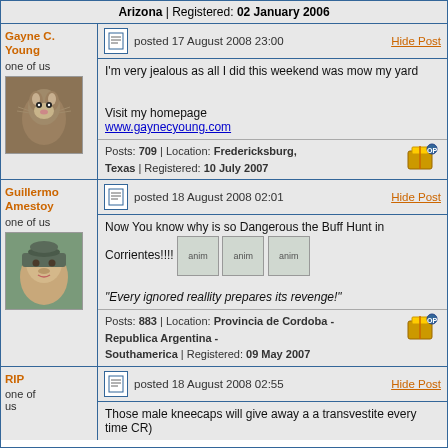Arizona | Registered: 02 January 2006
Gayne C. Young
one of us
posted 17 August 2008 23:00
Hide Post
I'm very jealous as all I did this weekend was mow my yard
Visit my homepage
www.gaynecyoung.com
Posts: 709 | Location: Fredericksburg, Texas | Registered: 10 July 2007
Guillermo Amestoy
one of us
posted 18 August 2008 02:01
Hide Post
Now You know why is so Dangerous the Buff Hunt in Corrientes!!!!
"Every ignored reallity prepares its revenge!"
Posts: 883 | Location: Provincia de Cordoba - Republica Argentina - Southamerica | Registered: 09 May 2007
RIP
one of us
posted 18 August 2008 02:55
Hide Post
Those male kneecaps will give away a a transvestite every time CR)